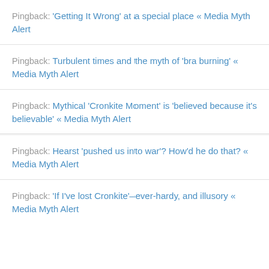Pingback: 'Getting It Wrong' at a special place « Media Myth Alert
Pingback: Turbulent times and the myth of 'bra burning' « Media Myth Alert
Pingback: Mythical 'Cronkite Moment' is 'believed because it's believable' « Media Myth Alert
Pingback: Hearst 'pushed us into war'? How'd he do that? « Media Myth Alert
Pingback: 'If I've lost Cronkite'–ever-hardy, and illusory « Media Myth Alert